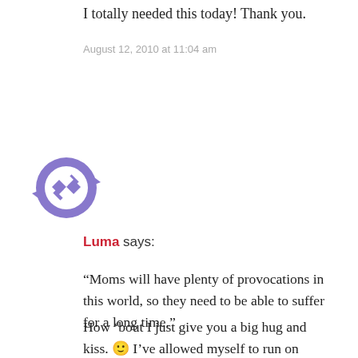I totally needed this today! Thank you.
August 12, 2010 at 11:04 am
[Figure (illustration): Circular avatar icon with blue/purple geometric pattern — diamond shapes arranged in a grid with a circular frame made of curved arrow-like segments]
Luma says:
“Moms will have plenty of provocations in this world, so they need to be able to suffer for a long time.”
How ‘bout I just give you a big hug and kiss. 🙂 I’ve allowed myself to run on fumes the last couple of weeks. My husband is so kind, though, every morning he reminds me of God’s promises and